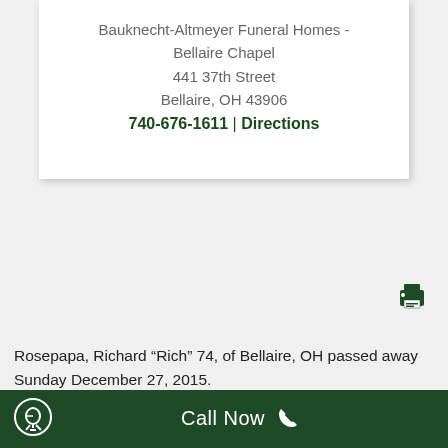Bauknecht-Altmeyer Funeral Homes - Bellaire Chapel
441 37th Street
Bellaire, OH 43906
740-676-1611 | Directions
[Figure (other): Print icon (dark green printer symbol)]
Rosepapa, Richard “Rich” 74, of Bellaire, OH passed away Sunday December 27, 2015.
Rich was born May 4, 1941 in Bellaire, OH a son
Call Now